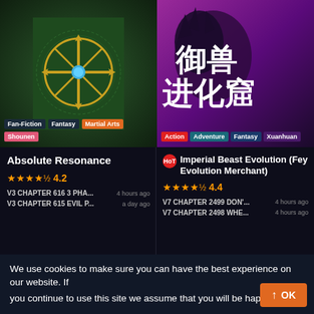[Figure (illustration): Book cover for Absolute Resonance showing a golden compass/cross ornament with a blue gem on a green ornate background, with genre tags: Fan-Fiction, Fantasy, Martial Arts, Shounen]
[Figure (illustration): Book cover for Imperial Beast Evolution (Fey Evolution Merchant) showing Chinese characters on a purple/pink fantasy background with a beast figure, with genre tags: Action, Adventure, Fantasy, Xuanhuan]
Absolute Resonance
★★★★½ 4.2
V3 CHAPTER 616 3 PHA... 4 hours ago
V3 CHAPTER 615 EVIL P... a day ago
Imperial Beast Evolution (Fey Evolution Merchant)
★★★★½ 4.4
V7 CHAPTER 2499 DON'... 4 hours ago
V7 CHAPTER 2498 WHE... 4 hours ago
A-Z List
Searching novel order by alphabet name A to Z
We use cookies to make sure you can have the best experience on our website. If you continue to use this site we assume that you will be happy with it.